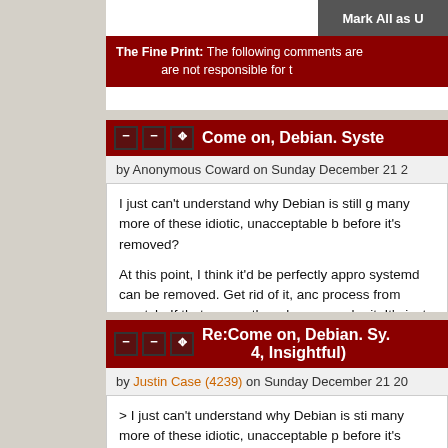Mark All as U
The Fine Print: The following comments are not responsible for t
Come on, Debian. Syste
by Anonymous Coward on Sunday December 21 2
I just can't understand why Debian is still g many more of these idiotic, unacceptable b before it's removed?

At this point, I think it'd be perfectly appro systemd can be removed. Get rid of it, anc process from scratch. If that means the rel years, so be it. It's just the right thing to d
Re:Come on, Debian. Sy. 4, Insightful)
by Justin Case (4239) on Sunday December 21 20
> I just can't understand why Debian is sti many more of these idiotic, unacceptable p before it's removed?

Perhaps you are misunderstanding their m